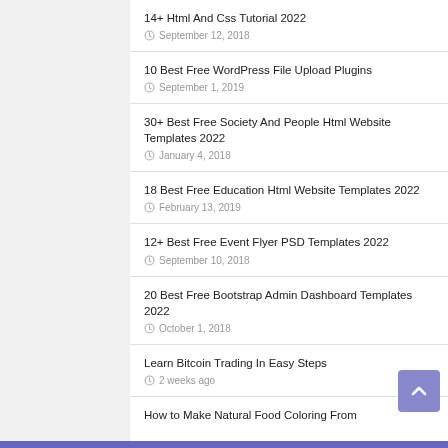14+ Html And Css Tutorial 2022
September 12, 2018
10 Best Free WordPress File Upload Plugins
September 1, 2019
30+ Best Free Society And People Html Website Templates 2022
January 4, 2018
18 Best Free Education Html Website Templates 2022
February 13, 2019
12+ Best Free Event Flyer PSD Templates 2022
September 10, 2018
20 Best Free Bootstrap Admin Dashboard Templates 2022
October 1, 2018
Learn Bitcoin Trading In Easy Steps
2 weeks ago
How to Make Natural Food Coloring From…